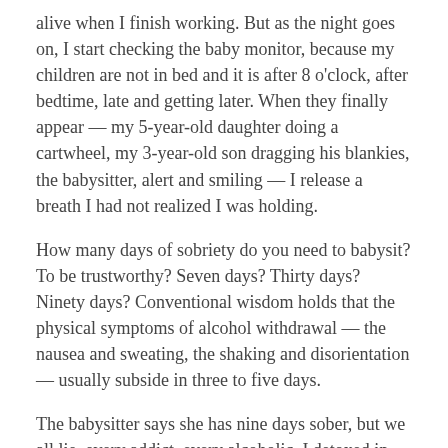alive when I finish working. But as the night goes on, I start checking the baby monitor, because my children are not in bed and it is after 8 o'clock, after bedtime, late and getting later. When they finally appear — my 5-year-old daughter doing a cartwheel, my 3-year-old son dragging his blankies, the babysitter, alert and smiling — I release a breath I had not realized I was holding.
How many days of sobriety do you need to babysit? To be trustworthy? Seven days? Thirty days? Ninety days? Conventional wisdom holds that the physical symptoms of alcohol withdrawal — the nausea and sweating, the shaking and disorientation — usually subside in three to five days.
The babysitter says she has nine days sober, but we all lie, every addict, every alcoholic. I detoxed in the hospital's drunk tank. On day two of sobriety, I had a seizure. On day six, I had a panic attack. On day nine, I could put on my own pants, barely.
But the struggle doesn't end with the physical. It's mental. The misery of protracted withdrawal — dysphoria, depression,